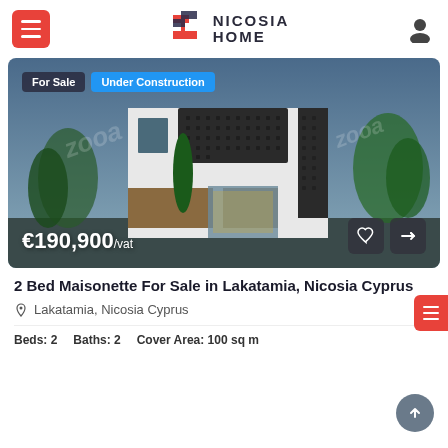NICOSIA HOME
[Figure (photo): Architectural rendering of a modern 2-storey maisonette with white facade, dark lattice panels, wooden accents, and landscaped surroundings at dusk. Badges: 'For Sale' and 'Under Construction'. Price: €190,900/vat.]
2 Bed Maisonette For Sale in Lakatamia, Nicosia Cyprus
Lakatamia, Nicosia Cyprus
Beds: 2    Baths: 2    Cover Area: 100 sq m